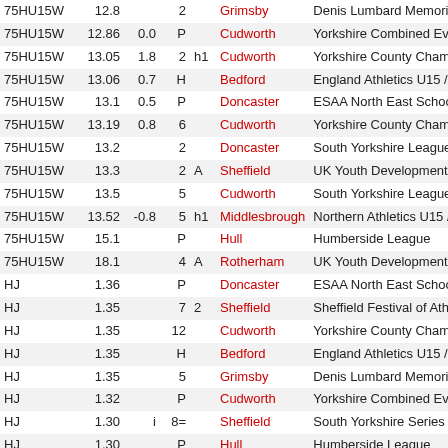| Event | Perf | Wind | Pos | Heat | Venue | Meeting |
| --- | --- | --- | --- | --- | --- | --- |
| 75HU15W | 12.8 |  | 2 |  | Grimsby | Denis Lumbard Memoria... |
| 75HU15W | 12.86 | 0.0 | P |  | Cudworth | Yorkshire Combined Eve... |
| 75HU15W | 13.05 | 1.8 | 2 | h1 | Cudworth | Yorkshire County Champ... |
| 75HU15W | 13.06 | 0.7 | H |  | Bedford | England Athletics U15 /... |
| 75HU15W | 13.1 | 0.5 | P |  | Doncaster | ESAA North East Schoo... |
| 75HU15W | 13.19 | 0.8 | 6 |  | Cudworth | Yorkshire County Champ... |
| 75HU15W | 13.2 |  | 2 |  | Doncaster | South Yorkshire League... |
| 75HU15W | 13.3 |  | 2 | A | Sheffield | UK Youth Development... |
| 75HU15W | 13.5 |  | 5 |  | Cudworth | South Yorkshire League... |
| 75HU15W | 13.52 | -0.8 | 5 | h1 | Middlesbrough | Northern Athletics U15 /... |
| 75HU15W | 15.1 |  | P |  | Hull | Humberside League |
| 75HU15W | 18.1 |  | 4 | A | Rotherham | UK Youth Development... |
| HJ | 1.36 |  | P |  | Doncaster | ESAA North East Schoo... |
| HJ | 1.35 |  | 7 | 2 | Sheffield | Sheffield Festival of Athl... |
| HJ | 1.35 |  | 12 |  | Cudworth | Yorkshire County Champ... |
| HJ | 1.35 |  | H |  | Bedford | England Athletics U15 /... |
| HJ | 1.35 |  | 5 |  | Grimsby | Denis Lumbard Memoria... |
| HJ | 1.32 |  | P |  | Cudworth | Yorkshire Combined Eve... |
| HJ | 1.30 | i | 8= |  | Sheffield | South Yorkshire Series |
| HJ | 1.30 |  | P |  | Hull | Humberside League |
| HJ | 1.30 |  | 1 | B | Sheffield | UK Youth Development... |
| HJ | 1.30 |  | 9 |  | Cudworth | Barnsley AC Open |
| HJ | 1.25 |  | 7 |  | Cudworth | South Yorkshire League... |
| HJ | 1.25 |  | 1 | B | Rotherham | UK Youth Development... |
| HJ | 1.20 |  | 7= |  | Doncaster | South Yorkshire League... |